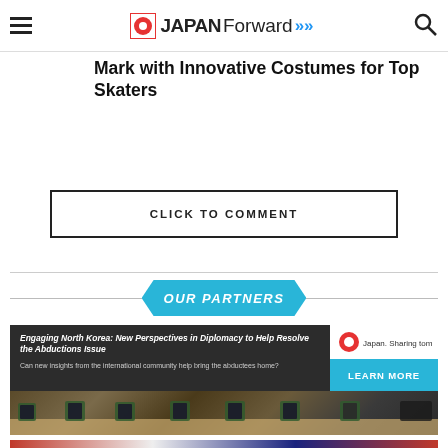JAPAN Forward
Mark with Innovative Costumes for Top Skaters
CLICK TO COMMENT
OUR PARTNERS
[Figure (infographic): Advertisement banner: Engaging North Korea: New Perspectives in Diplomacy to Help Resolve the Abductions Issue. Can new insights from the international community help bring the abductees home? LEARN MORE button in cyan. Japan Sharing Tomorrow logo top right. Background photo of people seated at a conference table.]
[Figure (photo): Partial bottom image strip showing a crowd with red, white and blue colors]